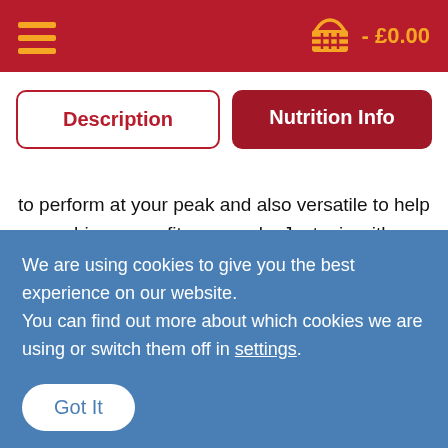Menu | - £0.00
Description | Nutrition Info
to perform at your peak and also versatile to help you achieve your fitness goals. Just mix with water, dairy or vegan milk in the free shaker provided and you're good to go!
We are using cookies to give you the best experience on our website.
You can find out more about which cookies we are using or switch them off in settings.
Got It